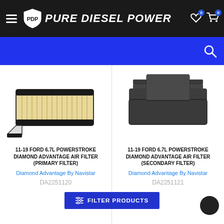PURE DIESEL POWER
[Figure (photo): Air filter product image - flat panel air filter with black frame and white filter media]
11-19 FORD 6.7L POWERSTROKE DIAMOND ADVANTAGE AIR FILTER (PRIMARY FILTER)
Diamond Advantage By Navistar
DA2251120
[Figure (photo): Secondary air filter product image - dark grey/black foam block style filter]
11-19 FORD 6.7L POWERSTROKE DIAMOND ADVANTAGE AIR FILTER (SECONDARY FILTER)
Diamond Advantage By Navistar
DA2251121